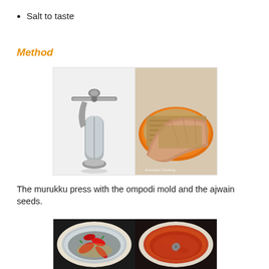Salt to taste
Method
[Figure (photo): Two-panel photo: left panel shows a murukku press (silver metal press tool with handle and detachable disk base), right panel shows a hand holding ajwain seeds above an orange container filled with seeds. Watermark text 'Aromatic Cooking' in bottom right.]
The murukku press with the ompodi mold and the ajwain seeds.
[Figure (photo): Two-panel photo: left panel shows a stainless steel grinder bowl containing dried red chilies and spices on a dark background, right panel shows the same grinder bowl with ground red chili paste, seen from above with orange-red mixture coating the bowl.]